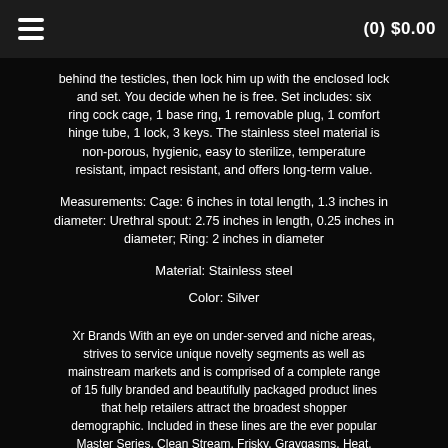(0) $0.00
behind the testicles, then lock him up with the enclosed lock and set. You decide when he is free. Set includes: six ring cock cage, 1 base ring, 1 removable plug, 1 comfort hinge tube, 1 lock, 3 keys. The stainless steel material is non-porous, hygienic, easy to sterilize, temperature resistant, impact resistant, and offers long-term value.
Measurements: Cage: 6 inches in total length, 1.3 inches in diameter: Urethral spout: 2.75 inches in length, 0.25 inches in diameter; Ring: 2 inches in diameter
Material: Stainless steel
Color: Silver
Xr Brands With an eye on under-served and niche areas, strives to service unique novelty segments as well as mainstream markets and is comprised of a complete range of 15 fully branded and beautifully packaged product lines that help retailers attract the broadest shopper demographic. Included in these lines are the ever popular Master Series, Clean Stream, Frisky, Graygasms, Heat, Inme, LoveBotz, Masera, Master Cock, Palm-Tec, Prisms Glass, Prostatic Play, Raging Cockstars, Savvy, SexFlesh,